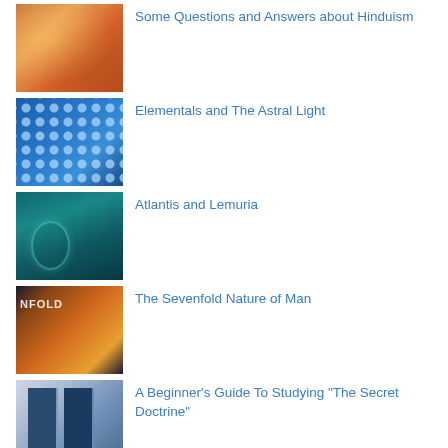[Figure (photo): Thumbnail image with warm orange/red tones, appears to show a person with colorful floor decorations or rangoli]
Some Questions and Answers about Hinduism
[Figure (photo): Thumbnail image with blue tones showing glowing orb-like light particles on a blue background]
Elementals and The Astral Light
[Figure (photo): Thumbnail image with teal/dark green tones suggesting underwater or mystical scene]
Atlantis and Lemuria
[Figure (photo): Thumbnail image with dark and orange sunset tones showing silhouettes, text reads NFOLD]
The Sevenfold Nature of Man
[Figure (photo): Thumbnail image showing two dark blue books side by side]
A Beginner's Guide To Studying "The Secret Doctrine"